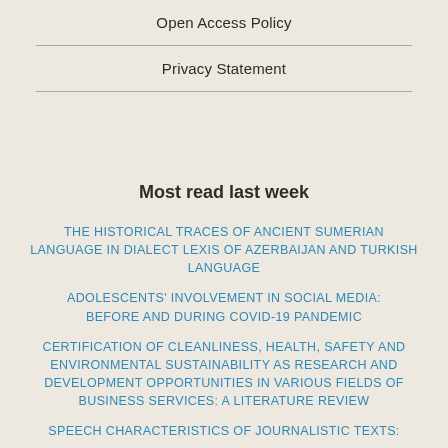Open Access Policy
Privacy Statement
Most read last week
THE HISTORICAL TRACES OF ANCIENT SUMERIAN LANGUAGE IN DIALECT LEXIS OF AZERBAIJAN AND TURKISH LANGUAGE
ADOLESCENTS' INVOLVEMENT IN SOCIAL MEDIA: BEFORE AND DURING COVID-19 PANDEMIC
CERTIFICATION OF CLEANLINESS, HEALTH, SAFETY AND ENVIRONMENTAL SUSTAINABILITY AS RESEARCH AND DEVELOPMENT OPPORTUNITIES IN VARIOUS FIELDS OF BUSINESS SERVICES: A LITERATURE REVIEW
SPEECH CHARACTERISTICS OF JOURNALISTIC TEXTS: